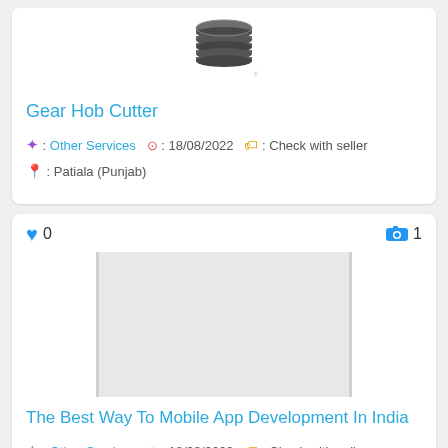[Figure (photo): Gear Hob Cutter product image at top of first card]
Gear Hob Cutter
🔷 : Other Services  🕐 : 18/08/2022  🏷 : Check with seller  📍 : Patiala (Punjab)
♥ 0   📷 1
[Figure (photo): Blank/empty image for The Best Way To Mobile App Development In India listing]
The Best Way To Mobile App Development In India
🔷 : Other Services  🕐 : 18/08/2022  🏷 : Check with seller  📍 : Mohali (Punjab)